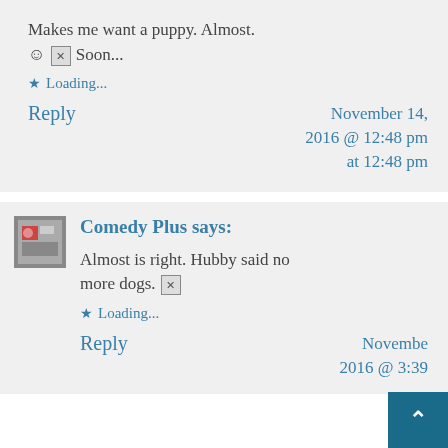Makes me want a puppy. Almost. 🙂 [x] Soon...
★ Loading...
Reply
November 14, 2016 @ 12:48 pm at 12:48 pm
Comedy Plus says:
Almost is right. Hubby said no more dogs. [x]
★ Loading...
Reply
November 2016 @ 3:39